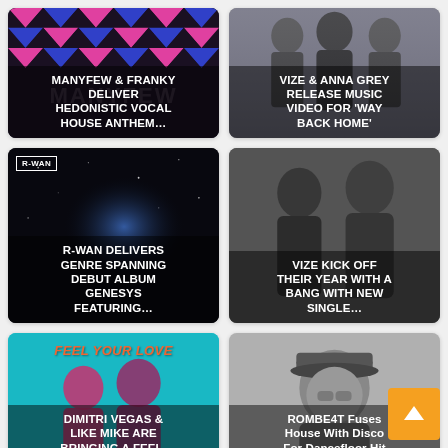[Figure (photo): MANYFEW & FRANKY article card with geometric pink/blue triangle pattern background and white bold text overlay]
[Figure (photo): VIZE & ANNA GREY article card with photo of three people and white bold text overlay]
[Figure (photo): R-WAN article card with dark cosmic background and R-WAN label, white bold text overlay]
[Figure (photo): VIZE KICK OFF article card with black and white photo of two people and white bold text overlay]
[Figure (photo): DIMITRI VEGAS & LIKE MIKE article card with teal background, FEEL YOUR LOVE text, and white bold text overlay]
[Figure (photo): ROMBE4T article card with photo of person wearing cap and white mixed-case text overlay]